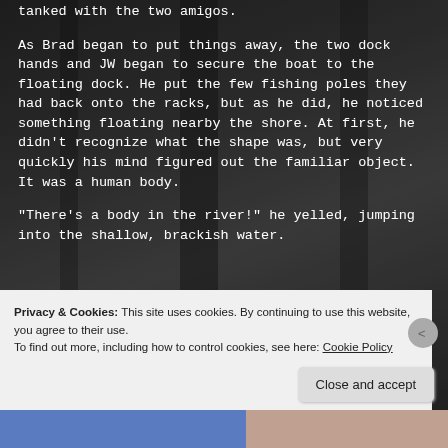[Figure (photo): Dark monochrome forest background with a human arm/hand reaching out, dramatic horror atmosphere]
tanked with the two amigos.
As Brad began to put things away, the two dock hands and JW began to secure the boat to the floating dock. He put the few fishing poles they had back onto the racks, but as he did, he noticed something floating nearby the shore. At first, he didn't recognize what the shape was, but very quickly his mind figured out the familiar object. It was a human body.
"There's a body in the river!" he yelled, jumping into the shallow, brackish water.
Privacy & Cookies: This site uses cookies. By continuing to use this website, you agree to their use.
To find out more, including how to control cookies, see here: Cookie Policy
Close and accept